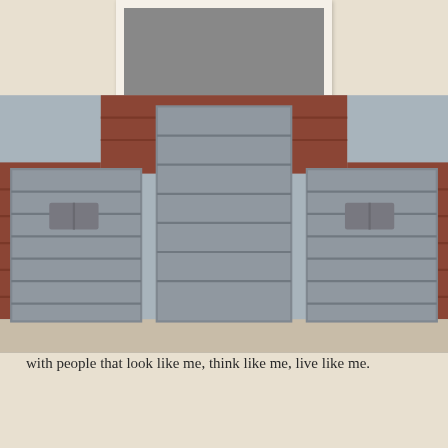[Figure (photo): Photograph of a brick building with three grey roller/garage doors]
Dear God,
How is it that we divide up into denominations? St. Paul, steeped in the tradition of his own religion and culture learned a better way:
There is neither Jew nor Greek, slave nor free, male nor female, for you are all one in Christ Jesus.
(Galatians 3:28)
Yet there’s a human inclination to choose sides. I tend to associate with people that look like me, think like me, live like me.